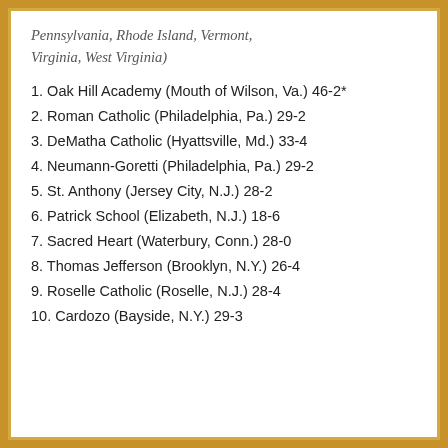Pennsylvania, Rhode Island, Vermont, Virginia, West Virginia)
1. Oak Hill Academy (Mouth of Wilson, Va.) 46-2*
2. Roman Catholic (Philadelphia, Pa.) 29-2
3. DeMatha Catholic (Hyattsville, Md.) 33-4
4. Neumann-Goretti (Philadelphia, Pa.) 29-2
5. St. Anthony (Jersey City, N.J.) 28-2
6. Patrick School (Elizabeth, N.J.) 18-6
7. Sacred Heart (Waterbury, Conn.) 28-0
8. Thomas Jefferson (Brooklyn, N.Y.) 26-4
9. Roselle Catholic (Roselle, N.J.) 28-4
10. Cardozo (Bayside, N.Y.) 29-3